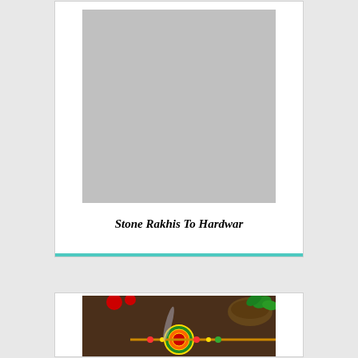[Figure (photo): Gray placeholder image for Stone Rakhis To Hardwar product]
Stone Rakhis To Hardwar
[Figure (photo): Photo of a colorful rakhi with beads on a dark textured background, with a bowl containing items in the upper right]